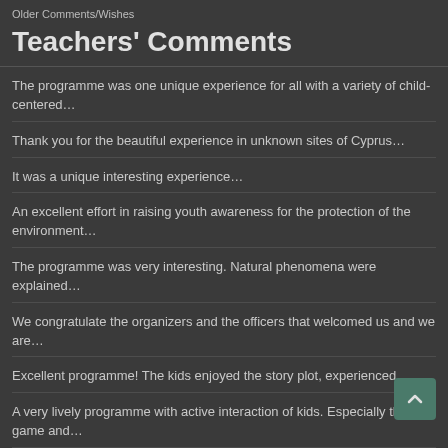Older Comments/Wishes
Teachers' Comments
The programme was one unique experience for all with a variety of child-centered…
Thank you for the beautiful experience in unknown sites of Cyprus…
It was a unique interesting experience…
An excellent effort in raising youth awareness for the protection of the environment…
The programme was very interesting. Natural phenomena were explained…
We congratulate the organizers and the officers that welcomed us and we are…
Excellent programme! The kids enjoyed the story plot, experienced…
A very lively programme with active interaction of kids. Especially the game and…
I am impressed with the whole activity. I believe it offers the students…
Very warm hosting, an excellent programme, a unique experience…
An excellent programme! Provision of understandable knowledge for kids…